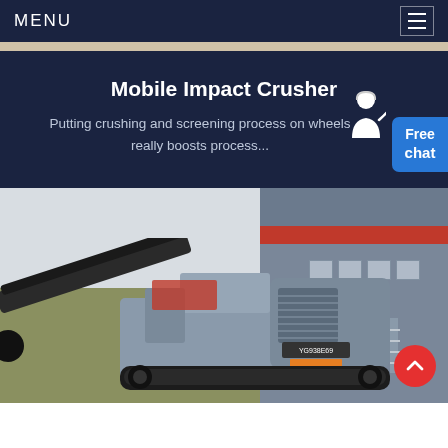MENU
Mobile Impact Crusher
Putting crushing and screening process on wheels really boosts process...
[Figure (photo): Mobile impact crusher machine YG938E69 parked outdoors in front of an industrial building with red and grey facade]
[Figure (illustration): Customer service representative figure next to Free chat button widget]